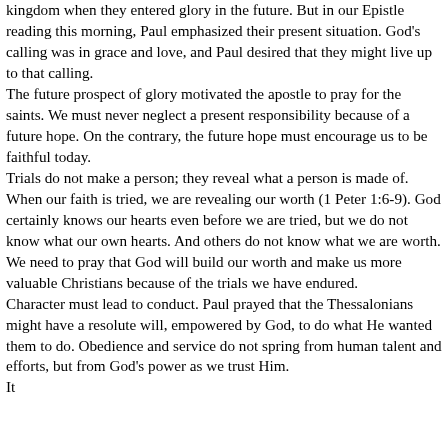kingdom when they entered glory in the future. But in our Epistle reading this morning, Paul emphasized their present situation. God's calling was in grace and love, and Paul desired that they might live up to that calling. The future prospect of glory motivated the apostle to pray for the saints. We must never neglect a present responsibility because of a future hope. On the contrary, the future hope must encourage us to be faithful today. Trials do not make a person; they reveal what a person is made of. When our faith is tried, we are revealing our worth (1 Peter 1:6-9). God certainly knows our hearts even before we are tried, but we do not know what our own hearts. And others do not know what we are worth. We need to pray that God will build our worth and make us more valuable Christians because of the trials we have endured. Character must lead to conduct. Paul prayed that the Thessalonians might have a resolute will, empowered by God, to do what He wanted them to do. Obedience and service do not spring from human talent and efforts, but from God's power as we trust Him. It may not Zo...